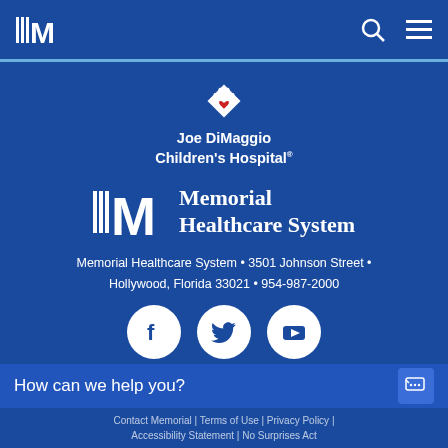Memorial Healthcare System (M logo) — navigation header with search and menu icons
[Figure (logo): Joe DiMaggio Children's Hospital logo: hands forming a heart shape with a red heart inside, and text 'Joe DiMaggio Children's Hospital' in white bold]
[Figure (logo): Memorial Healthcare System logo: stylized M with horizontal lines and bold serif text 'Memorial Healthcare System']
Memorial Healthcare System • 3501 Johnson Street • Hollywood, Florida 33021 • 954-987-2000
[Figure (infographic): Three white circular social media icons: Facebook, Twitter, YouTube]
© Copyright 2022 Memorial Healthcare System
How can we help you?
Contact Memorial | Terms of Use | Privacy Policy | Accessibility Statement | No Surprises Act